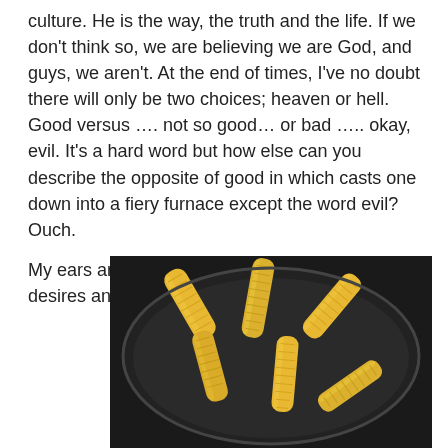culture.  He is the way, the truth and the life.  If we don't think so, we are believing we are God, and guys, we aren't.  At the end of times, I've no doubt there will only be two choices; heaven or hell.  Good versus …. not so good… or bad ….. okay, evil.  It's a hard word but how else can you describe the opposite of good in which casts one down into a fiery furnace except the word evil?  Ouch.
My ears are often open only to my own needs, desires and pleasures.  But where is that
[Figure (photo): Photo of baby corn cobs in a dark round cooking pot or bowl, shot from above on a countertop.]